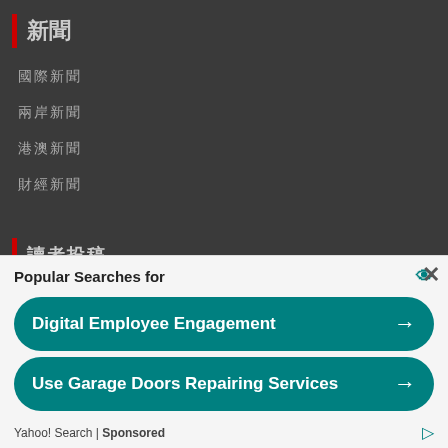新聞
國際新聞
兩岸新聞
港澳新聞
財經新聞
讀者投稿
[Figure (photo): Group photo of people in masks at an outdoor sports event, holding a trophy and banner. Overlay text reads 讀者投稿.]
Popular Searches for
Digital Employee Engagement →
Use Garage Doors Repairing Services →
Yahoo! Search | Sponsored